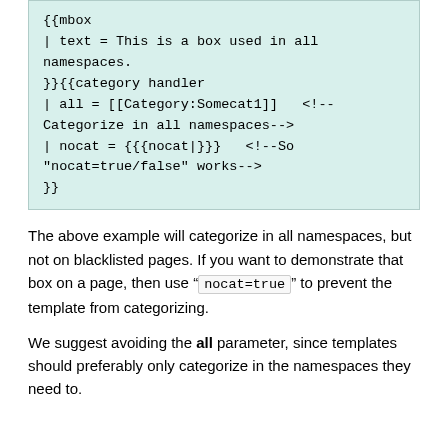{{mbox
| text = This is a box used in all namespaces.
}}{{category handler
| all = [[Category:Somecat1]]   <!-- Categorize in all namespaces-->
| nocat = {{{nocat|}}}   <!--So "nocat=true/false" works-->
}}
The above example will categorize in all namespaces, but not on blacklisted pages. If you want to demonstrate that box on a page, then use "nocat=true" to prevent the template from categorizing.
We suggest avoiding the all parameter, since templates should preferably only categorize in the namespaces they need to.